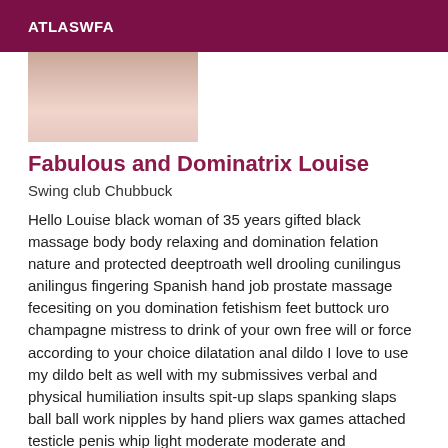ATLASWFA
[Figure (photo): Partial photo of a person, cropped showing skin tones, top portion visible]
Fabulous and Dominatrix Louise
Swing club Chubbuck
Hello Louise black woman of 35 years gifted black massage body body relaxing and domination felation nature and protected deeptroath well drooling cunilingus anilingus fingering Spanish hand job prostate massage fecesiting on you domination fetishism feet buttock uro champagne mistress to drink of your own free will or force according to your choice dilatation anal dildo I love to use my dildo belt as well with my submissives verbal and physical humiliation insults spit-up slaps spanking slaps ball ball work nipples by hand pliers wax games attached testicle penis whip light moderate moderate and suffocation and control of it this one dipping trampling according to your request of your choice I